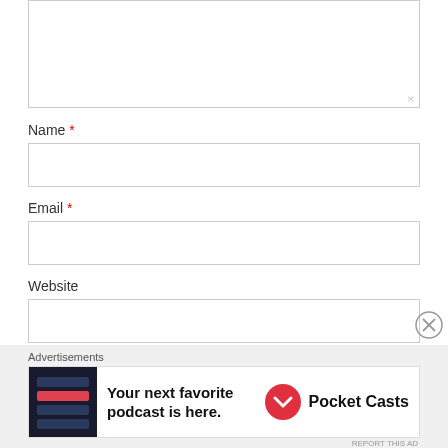[Figure (screenshot): Textarea input box (top, partially visible), comment form with Name, Email, Website fields and Post Comment button]
Name *
Email *
Website
Post Comment
Advertisements
[Figure (screenshot): Pocket Casts advertisement banner: 'Your next favorite podcast is here.' with Pocket Casts logo]